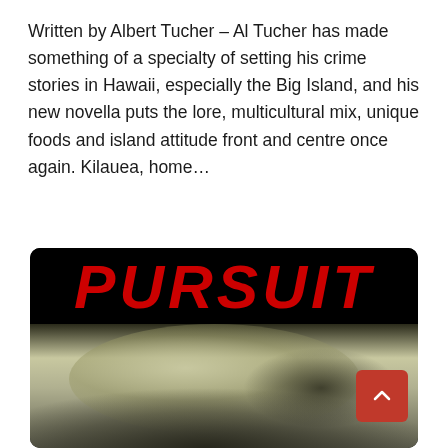Written by Albert Tucher – Al Tucher has made something of a specialty of setting his crime stories in Hawaii, especially the Big Island, and his new novella puts the lore, multicultural mix, unique foods and island attitude front and centre once again. Kilauea, home…
[Figure (photo): Book cover of 'PURSUIT' showing the title in large red distressed letters on a black background, with a blurred black-and-white close-up image below, possibly of a face or figure. A red scroll-up button is overlaid in the bottom-right corner of the image.]